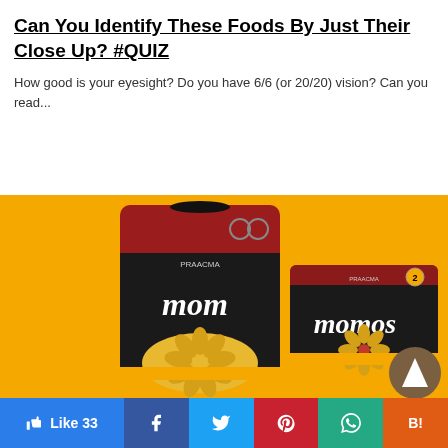Can You Identify These Foods By Just Their Close Up? #QUIZ
How good is your eyesight? Do you have 6/6 (or 20/20) vision? Can you read...
[Figure (photo): Product packaging photo showing two Momos food packages (a bag and a box) on a yellow background, labelled 'PRAACMA momos 2']
Like 33 | Facebook | Twitter | Pinterest | WhatsApp | Hatena Bookmark